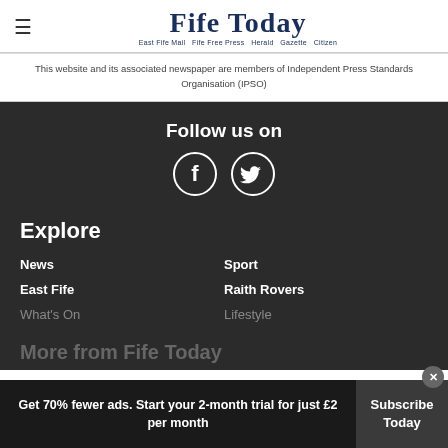Fife Today — East Fife Mail Fife Free Press Herald Gazette Citizen
This website and its associated newspaper are members of Independent Press Standards Organisation (IPSO)
Follow us on
[Figure (illustration): Facebook and Twitter social media icons (white icons in dark circles)]
Explore
News
Sport
East Fife
Raith Rovers
What's On
Lifestyle
More from Fife Today
Get 70% fewer ads. Start your 2-month trial for just £2 per month
Subscribe Today